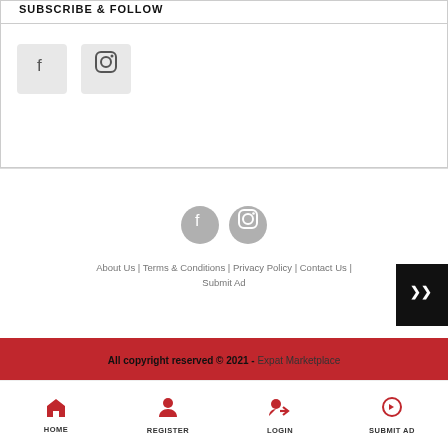SUBSCRIBE & FOLLOW
[Figure (illustration): Social media icon buttons: Facebook (f) and Instagram camera icon, displayed as light grey square boxes]
[Figure (illustration): Footer social media circles: grey circular Facebook (f) and Instagram icons]
About Us | Terms & Conditions | Privacy Policy | Contact Us | Submit Ad
[Figure (illustration): Black back-to-top button with double chevron up arrow (>>) in white]
All copyright reserved © 2021 - Expat Marketplace
HOME   REGISTER   LOGIN   SUBMIT AD